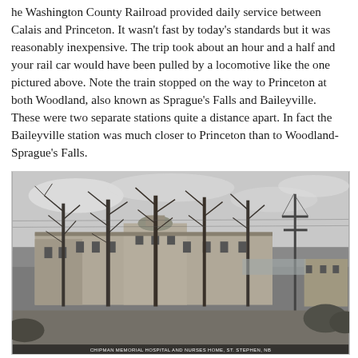he Washington County Railroad provided daily service between Calais and Princeton. It wasn't fast by today's standards but it was reasonably inexpensive. The trip took about an hour and a half and your rail car would have been pulled by a locomotive like the one pictured above. Note the train stopped on the way to Princeton at both Woodland, also known as Sprague's Falls and Baileyville.  These were two separate stations quite a distance apart. In fact the Baileyville station was much closer to Princeton than to Woodland-Sprague's Falls.
[Figure (photo): Black and white historical photograph of Chipman Memorial Hospital and Nurses Home, St. Stephen. Shows a large multi-story building with bare trees in the foreground, a road, and utility poles visible on the right side.]
CHIPMAN MEMORIAL HOSPITAL AND NURSES HOME, ST. STEPHEN, NB